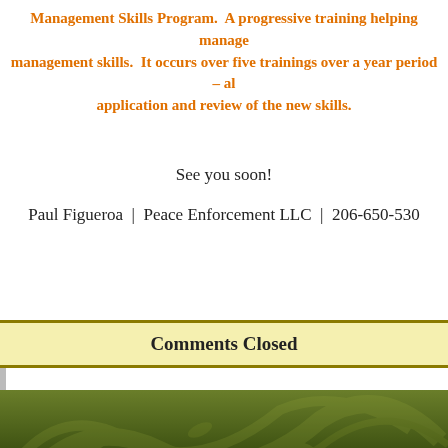Management Skills Program. A progressive training helping managers build management skills. It occurs over five trainings over a year period – allowing application and review of the new skills.
See you soon!
Paul Figueroa  |  Peace Enforcement LLC  |  206-650-530
Comments Closed
HOME  ABOUT US  CLASSES  ENROLLMENT  REGISTRATION  PAR  COPYRIGHT © 2010 THE SHYNE S